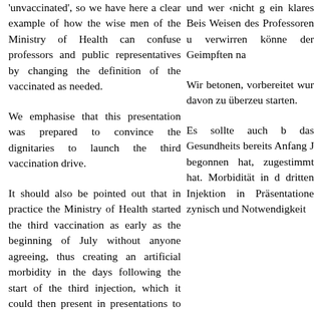'unvaccinated', so we have here a clear example of how the wise men of the Ministry of Health can confuse professors and public representatives by changing the definition of the vaccinated as needed.
und wer ‹nicht g ein klares Beis Weisen des Professoren u verwirren könne der Geimpften na
We emphasise that this presentation was prepared to convince the dignitaries to launch the third vaccination drive.
Wir betonen, vorbereitet wur davon zu überzeu starten.
It should also be pointed out that in practice the Ministry of Health started the third vaccination as early as the beginning of July without anyone agreeing, thus creating an artificial morbidity in the days following the start of the third injection, which it could then present in presentations to cynically and paradoxically convince people of the need for the third dose.
Es sollte auch b das Gesundheits bereits Anfang J begonnen hat, zugestimmt hat. Morbidität in d dritten Injektion in Präsentatione zynisch und Notwendigkeit